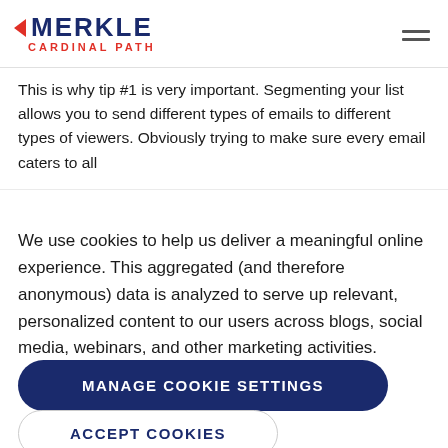Merkle Cardinal Path
This is why tip #1 is very important. Segmenting your list allows you to send different types of emails to different types of viewers. Obviously trying to make sure every email caters to all
We use cookies to help us deliver a meaningful online experience. This aggregated (and therefore anonymous) data is analyzed to serve up relevant, personalized content to our users across blogs, social media, webinars, and other marketing activities.
MANAGE COOKIE SETTINGS
ACCEPT COOKIES